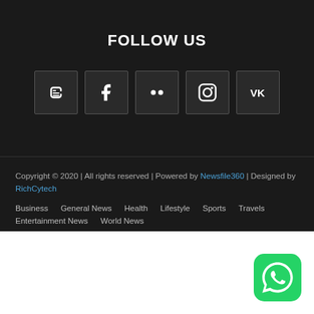FOLLOW US
[Figure (infographic): Five social media icon boxes in a row: Blogger (B), Facebook (f), Flickr (two dots), Instagram (camera circle), VK (VK)]
Copyright © 2020 | All rights reserved | Powered by Newsfile360 | Designed by RichCytech
Business
General News
Health
Lifestyle
Sports
Travels
Entertainment News
World News
[Figure (logo): WhatsApp green rounded square logo in bottom right corner]